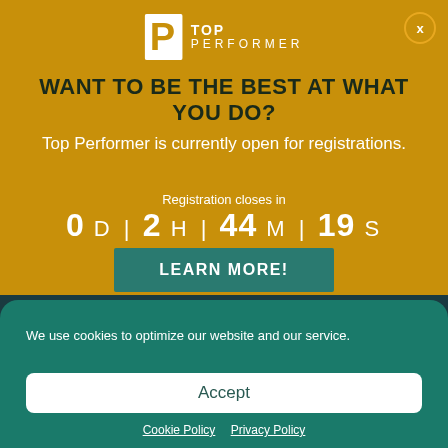[Figure (logo): Top Performer logo with white P lettermark and TOP PERFORMER text]
WANT TO BE THE BEST AT WHAT YOU DO?
Top Performer is currently open for registrations.
Registration closes in
0 D | 2 H | 44 M | 19 S
LEARN MORE!
We use cookies to optimize our website and our service.
Accept
Cookie Policy  Privacy Policy